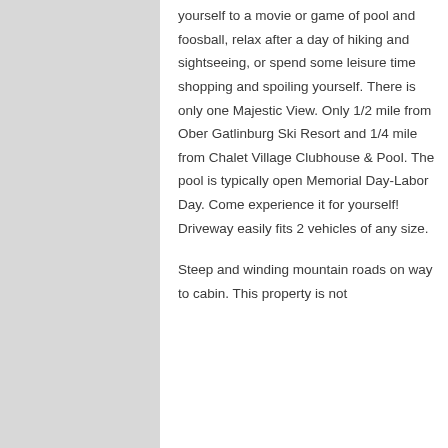yourself to a movie or game of pool and foosball, relax after a day of hiking and sightseeing, or spend some leisure time shopping and spoiling yourself. There is only one Majestic View. Only 1/2 mile from Ober Gatlinburg Ski Resort and 1/4 mile from Chalet Village Clubhouse & Pool. The pool is typically open Memorial Day-Labor Day. Come experience it for yourself! Driveway easily fits 2 vehicles of any size.
Steep and winding mountain roads on way to cabin. This property is not